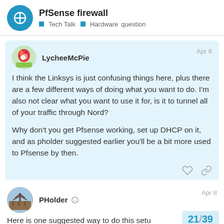PfSense firewall — Tech Talk · Hardware question
LycheeMcPie — Apr 8
I think the Linksys is just confusing things here, plus there are a few different ways of doing what you want to do. I'm also not clear what you want to use it for, is it to tunnel all of your traffic through Nord?

Why don't you get Pfsense working, set up DHCP on it, and as pholder suggested earlier you'll be a bit more used to Pfsense by then.
PHolder — Apr 8
Here is one suggested way to do this setu